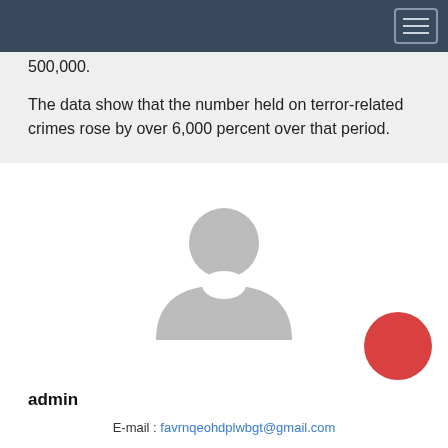500,000.
The data show that the number held on terror-related crimes rose by over 6,000 percent over that period.
[Figure (illustration): Generic user avatar icon — grey silhouette of a person (head and shoulders) on white background]
admin
E-mail : favrnqeohdplwbgt@gmail.com